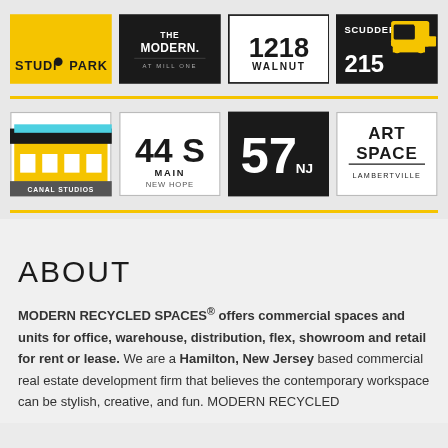[Figure (logo): Studio Park yellow logo]
[Figure (logo): The Modern. At Mill One black logo]
[Figure (logo): 1218 Walnut logo]
[Figure (logo): Scudder 215 logo with bulldozer]
[Figure (logo): Canal Studios building photo logo]
[Figure (logo): 44 S Main New Hope logo]
[Figure (logo): 57 NJ logo]
[Figure (logo): Art Space Lambertville logo]
ABOUT
MODERN RECYCLED SPACES® offers commercial spaces and units for office, warehouse, distribution, flex, showroom and retail for rent or lease. We are a Hamilton, New Jersey based commercial real estate development firm that believes the contemporary workspace can be stylish, creative, and fun. MODERN RECYCLED